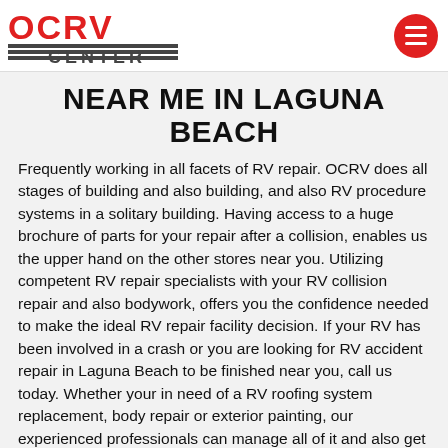[Figure (logo): OCRV Center logo with red lettering and horizontal stripes, plus a red circular hamburger menu button on the right]
NEAR ME IN LAGUNA BEACH
Frequently working in all facets of RV repair. OCRV does all stages of building and also building, and also RV procedure systems in a solitary building. Having access to a huge brochure of parts for your repair after a collision, enables us the upper hand on the other stores near you. Utilizing competent RV repair specialists with your RV collision repair and also bodywork, offers you the confidence needed to make the ideal RV repair facility decision. If your RV has been involved in a crash or you are looking for RV accident repair in Laguna Beach to be finished near you, call us today. Whether your in need of a RV roofing system replacement, body repair or exterior painting, our experienced professionals can manage all of it and also get your RV looking brand new. Come by and also stop seeking